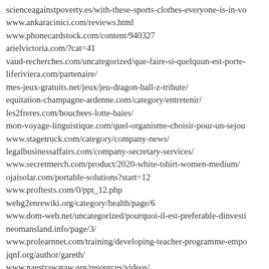scienceagainstpoverty.es/with-these-sports-clothes-everyone-is-in-vo
www.ankaracinici.com/reviews.html
www.phonecardstock.com/content/940327
arielvictoria.com/?cat=41
vaud-recherches.com/uncategorized/que-faire-si-quelquun-est-porte-
liferiviera.com/partenaire/
mes-jeux-gratuits.net/jeux/jeu-dragon-ball-z-tribute/
equitation-champagne-ardenne.com/category/entretenir/
les2freres.com/bouchees-lotte-baies/
mon-voyage-linguistique.com/quel-organisme-choisir-pour-un-sejou
www.stagetruck.com/category/company-news/
legalbusinessaffairs.com/company-secretary-services/
www.secretmerch.com/product/2020-white-tshirt-women-medium/
ojaisolar.com/portable-solutions?start=12
www.proftests.com/0/ppt_12.php
webg2enrewiki.org/category/health/page/6
www.dom-web.net/uncategorized/pourquoi-il-est-preferable-dinvesti
neomansland.info/page/3/
www.prolearnnet.com/training/developing-teacher-programme-empo
jqnf.org/author/gareth/
www.naestrawataw.org/resources/videos/
denglizirongfu.com/lendlease.html